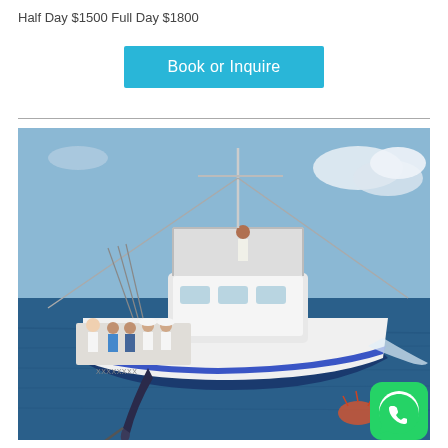Half Day $1500 Full Day $1800
[Figure (other): A cyan/blue 'Book or Inquire' button]
[Figure (photo): A white sport fishing boat on the ocean with a crew and a large marlin/swordfish caught alongside the boat. A WhatsApp icon is overlaid in the bottom right corner.]